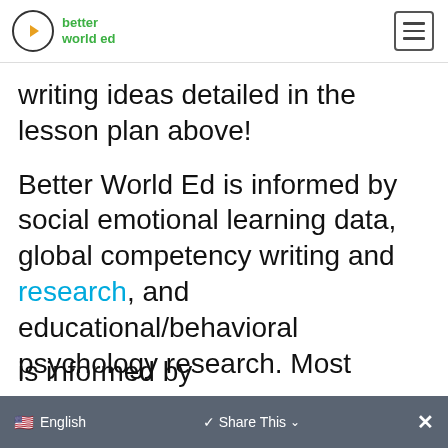better world ed
writing ideas detailed in the lesson plan above!
Better World Ed is informed by social emotional learning data, global competency writing and research, and educational/behavioral psychology research. Most is informed by